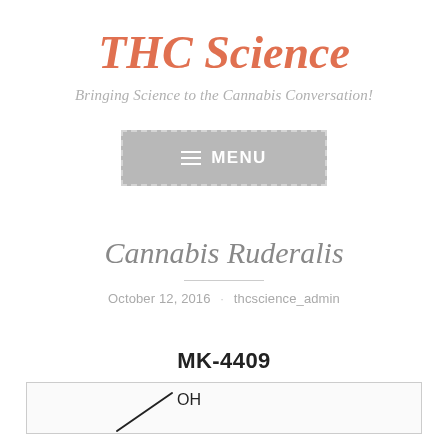THC Science
Bringing Science to the Cannabis Conversation!
[Figure (other): Menu navigation button with hamburger icon and MENU text on grey background with dashed border]
Cannabis Ruderalis
October 12, 2016 · thcscience_admin
MK-4409
[Figure (math-figure): Chemical structure diagram showing a molecule with OH group, partial skeletal formula visible at bottom of the box]